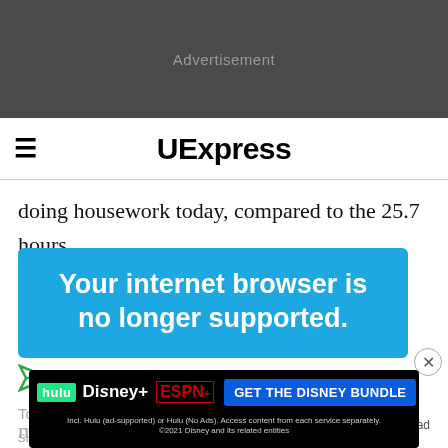[Figure (other): Dark grey advertisement banner placeholder at top of page]
UExpress
doing housework today, compared to the 25.7 hours spent weekly by their mothers in 1965, according to [data] from the United
[Figure (other): Blue overlay box with text: Your internet browser is no longer supported.]
To get the best experience on our site, we reco[mmend using the] latest v[ersion of your browser, or upgrading or]
Report an ad
[Figure (other): Disney Bundle advertisement banner showing Hulu, Disney+, ESPN+ logos with GET THE DISNEY BUNDLE button and fine print: Incl. Hulu (ad-supported) or Hulu (No Ads). Access content from each service separately. ©2021 Disney and its related entities]
mill[e-demonstrat}ed or